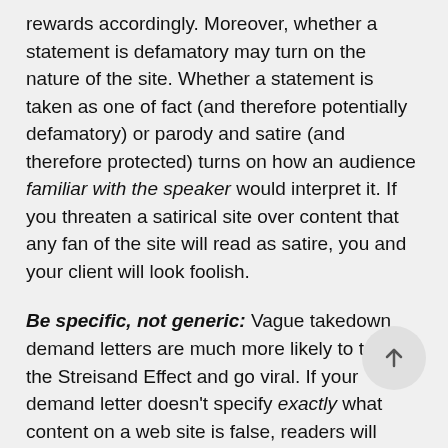rewards accordingly. Moreover, whether a statement is defamatory may turn on the nature of the site. Whether a statement is taken as one of fact (and therefore potentially defamatory) or parody and satire (and therefore protected) turns on how an audience familiar with the speaker would interpret it. If you threaten a satirical site over content that any fan of the site will read as satire, you and your client will look foolish.
Be specific, not generic: Vague takedown demand letters are much more likely to trigger the Streisand Effect and go viral. If your demand letter doesn't specify exactly what content on a web site is false, readers will assume — not unreasonably — that your true aim is to suppress any criticism of your client. In internet culture, that's one of the gravest